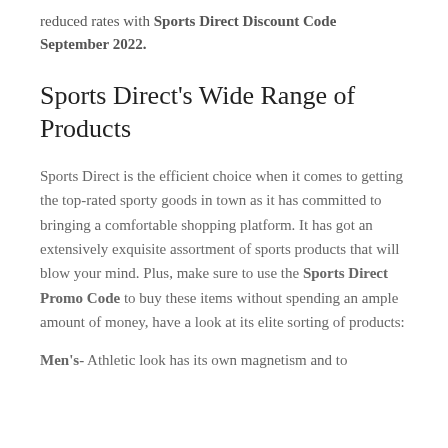reduced rates with Sports Direct Discount Code September 2022.
Sports Direct's Wide Range of Products
Sports Direct is the efficient choice when it comes to getting the top-rated sporty goods in town as it has committed to bringing a comfortable shopping platform. It has got an extensively exquisite assortment of sports products that will blow your mind. Plus, make sure to use the Sports Direct Promo Code to buy these items without spending an ample amount of money, have a look at its elite sorting of products:
Men's- Athletic look has its own magnetism and to